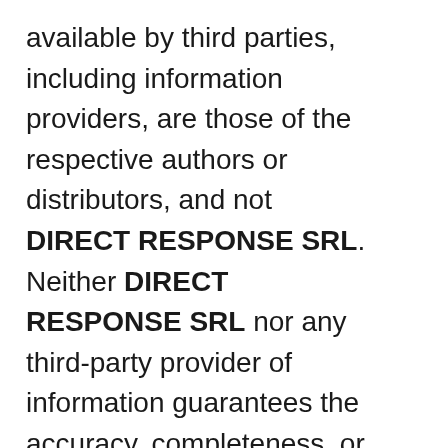available by third parties, including information providers, are those of the respective authors or distributors, and not DIRECT RESPONSE SRL. Neither DIRECT RESPONSE SRL nor any third-party provider of information guarantees the accuracy, completeness, or usefulness of any content. Furthermore